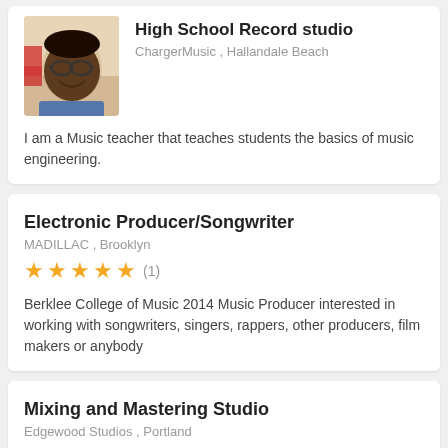[Figure (photo): Profile photo of a smiling person wearing glasses]
High School Record studio
ChargerMusic , Hallandale Beach
I am a Music teacher that teaches students the basics of music engineering.
Electronic Producer/Songwriter
MADILLAC , Brooklyn
★★★★★ (1)
Berklee College of Music 2014 Music Producer interested in working with songwriters, singers, rappers, other producers, film makers or anybody
Mixing and Mastering Studio
Edgewood Studios , Portland
My name is Alex and I'm the owner of Edgewood Studios. I am certified in